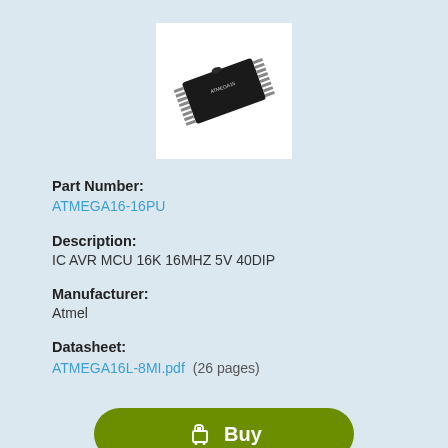[Figure (photo): A black DIP-40 microcontroller chip (ATMEGA16) shown at an angle on white background]
Part Number:
ATMEGA16-16PU
Description:
IC AVR MCU 16K 16MHZ 5V 40DIP
Manufacturer:
Atmel
Datasheet:
ATMEGA16L-8MI.pdf  (26 pages)
Buy